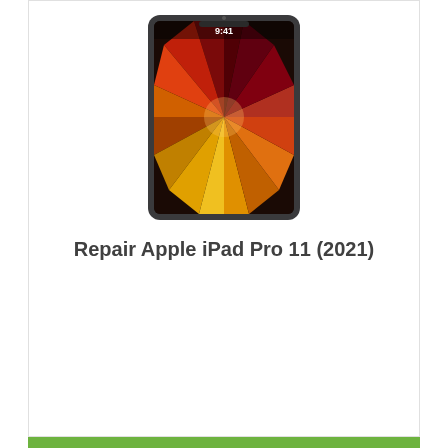[Figure (photo): Apple iPad Pro 11 (2021) device image showing colorful wallpaper]
Repair Apple iPad Pro 11 (2021)
Get My Repair Estimate
[Figure (photo): Apple iPad Pro 12.9 (2021) device image showing colorful wallpaper]
Repair Apple iPad Pro 12.9 (2021)